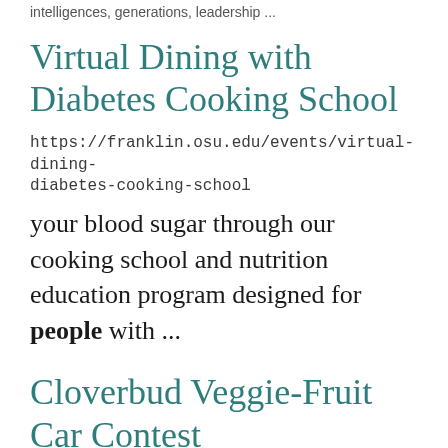intelligences, generations, leadership ...
Virtual Dining with Diabetes Cooking School
https://franklin.osu.edu/events/virtual-dining-diabetes-cooking-school
your blood sugar through our cooking school and nutrition education program designed for people with ...
Cloverbud Veggie-Fruit Car Contest
https://butler.osu.edu/program-areas/4-h-youth-development/cloverbud-contest-cloverbud-veggie-fruit-car-event
races. The following awards will be